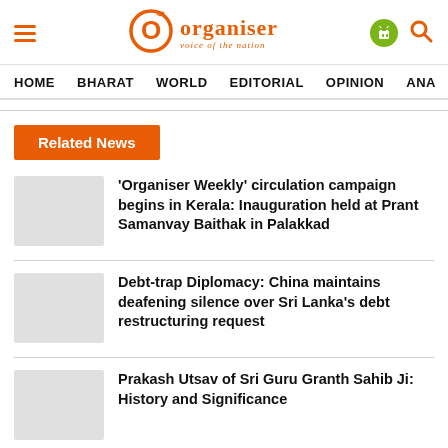Organiser — voice of the nation
HOME  BHARAT  WORLD  EDITORIAL  OPINION  ANA
Related News
'Organiser Weekly' circulation campaign begins in Kerala: Inauguration held at Prant Samanvay Baithak in Palakkad
Debt-trap Diplomacy: China maintains deafening silence over Sri Lanka's debt restructuring request
Prakash Utsav of Sri Guru Granth Sahib Ji: History and Significance